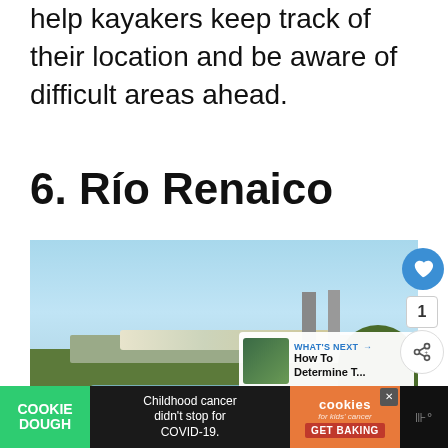help kayakers keep track of their location and be aware of difficult areas ahead.
6. Río Renaico
[Figure (photo): Photograph of a train crossing a bridge over a river, with cranes visible in the background, trees on both sides, blue sky above, and a UI overlay showing a heart/like button (count: 1), a share button, and a 'What's Next' panel reading 'How To Determine T...']
[Figure (screenshot): Advertisement bar at the bottom: green 'COOKIE DOUGH' label on left, center text 'Childhood cancer didn't stop for COVID-19.', orange 'cookies for kids cancer GET BAKING' on right with close button, far right shows a muted/speaker icon]